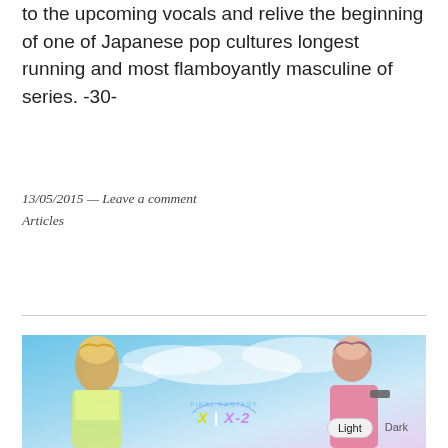to the upcoming vocals and relive the beginning of one of Japanese pop cultures longest running and most flamboyantly masculine of series. -30-
13/05/2015 — Leave a comment
Articles
[Figure (photo): Final Fantasy X/X-2 promotional artwork showing a blonde male character on the left and a female character with a gun on the right, with the Final Fantasy X|X-2 logo in the center, against a blue sky background. Light/Dark theme toggle buttons visible in lower right.]